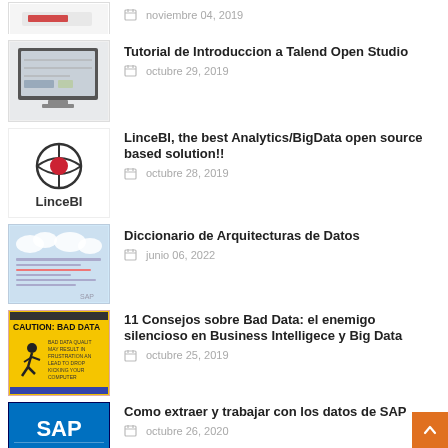[Figure (screenshot): Partial thumbnail of a software UI screenshot (red element visible)]
noviembre 04, 2019
[Figure (screenshot): Thumbnail of a desktop computer showing a data analytics dashboard]
Tutorial de Introduccion a Talend Open Studio
octubre 29, 2019
[Figure (logo): LinceBI logo with red circular icon and dark text]
LinceBI, the best Analytics/BigData open source based solution!!
octubre 28, 2019
[Figure (screenshot): Thumbnail showing Diccionario de Arquitecturas de Datos document with data architecture diagrams]
Diccionario de Arquitecturas de Datos
junio 06, 2022
[Figure (photo): Yellow caution sign reading CAUTION: BAD DATA with a figure slipping]
11 Consejos sobre Bad Data: el enemigo silencioso en Business Intelligece y Big Data
octubre 25, 2019
[Figure (logo): SAP logo on blue/white background with text about SAP data extraction]
Como extraer y trabajar con los datos de SAP
octubre 26, 2020